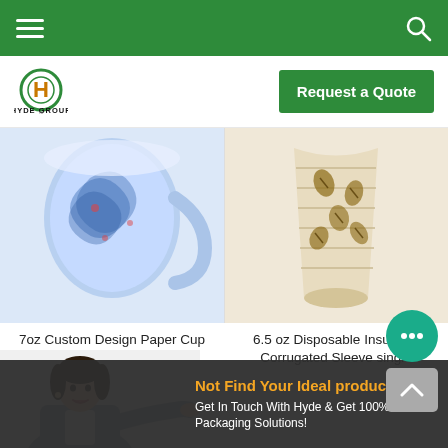Hyde Group navigation bar with hamburger menu and search icon
[Figure (logo): Hyde Group logo with stylized H in circle, green and orange colors, text HYDE GROUP below]
Request a Quote
[Figure (photo): Blue patterned ceramic mug with handle, decorative swirl design]
[Figure (photo): Cream/beige corrugated paper cup with coffee bean pattern, no handle]
7oz Custom Design Paper Cup With Handle For Tea and
6.5 oz Disposable Insulated Corrugated Sleeve single
[Figure (photo): Asian businesswoman in grey blazer pointing with open hand gesture, smiling]
Not Find Your Ideal products? Get In Touch With Hyde & Get 100% FREE Packaging Solutions!